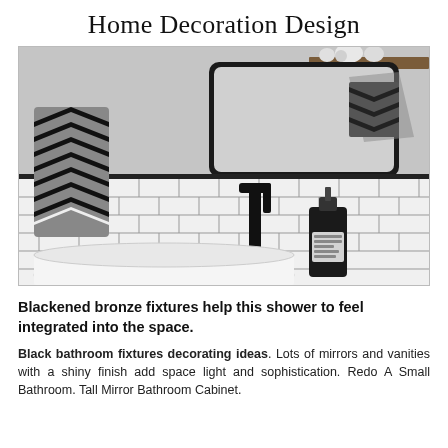Home Decoration Design
[Figure (photo): Black and white bathroom with white subway tiles, black faucet fixtures, a rectangular black-framed mirror, a white vessel sink, a striped black and white towel, and a soap dispenser on the counter. A wooden shelf with decorative items is visible in the upper right.]
Blackened bronze fixtures help this shower to feel integrated into the space.
Black bathroom fixtures decorating ideas. Lots of mirrors and vanities with a shiny finish add space light and sophistication. Redo A Small Bathroom. Tall Mirror Bathroom Cabinet.